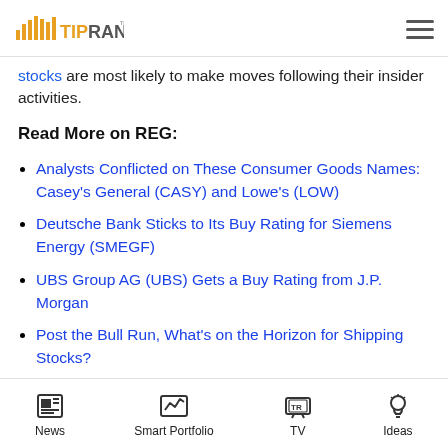TipRanks
stocks are most likely to make moves following their insider activities.
Read More on REG:
Analysts Conflicted on These Consumer Goods Names: Casey's General (CASY) and Lowe's (LOW)
Deutsche Bank Sticks to Its Buy Rating for Siemens Energy (SMEGF)
UBS Group AG (UBS) Gets a Buy Rating from J.P. Morgan
Post the Bull Run, What's on the Horizon for Shipping Stocks?
News  Smart Portfolio  TV  Ideas